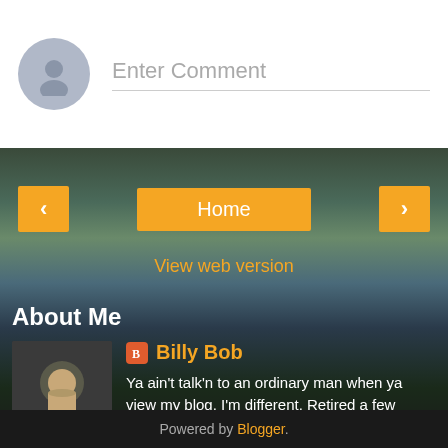[Figure (screenshot): Comment input bar with avatar circle and 'Enter Comment' placeholder text]
[Figure (photo): Outdoor nature scene with lake, reeds, trees and sky in background]
Home
View web version
About Me
Billy Bob
Ya ain't talk'n to an ordinary man when ya view my blog. I'm different. Retired a few years ago and been "on the road again" ever since. I have a 35 foot motor home what is pretty much self contained for off grid boondocking. I make stuff and enjoy life for what it is.
View my complete profile
Powered by Blogger.